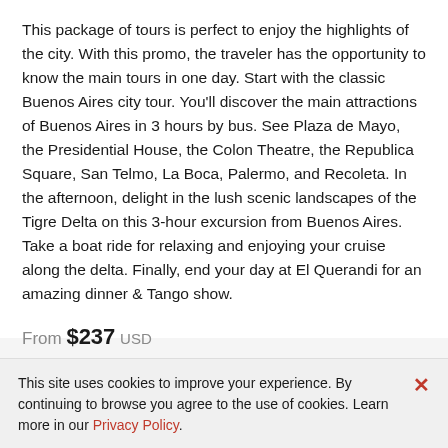This package of tours is perfect to enjoy the highlights of the city. With this promo, the traveler has the opportunity to know the main tours in one day. Start with the classic Buenos Aires city tour. You'll discover the main attractions of Buenos Aires in 3 hours by bus. See Plaza de Mayo, the Presidential House, the Colon Theatre, the Republica Square, San Telmo, La Boca, Palermo, and Recoleta. In the afternoon, delight in the lush scenic landscapes of the Tigre Delta on this 3-hour excursion from Buenos Aires. Take a boat ride for relaxing and enjoying your cruise along the delta. Finally, end your day at El Querandi for an amazing dinner & Tango show.
From $237 USD
Select Date
This site uses cookies to improve your experience. By continuing to browse you agree to the use of cookies. Learn more in our Privacy Policy.